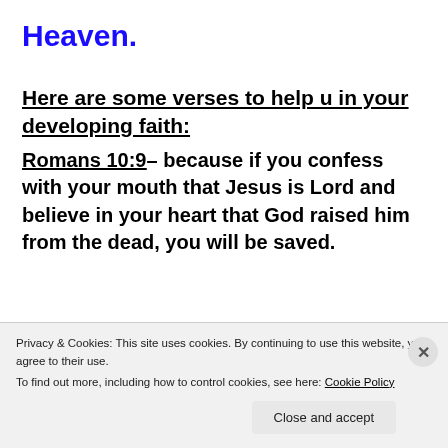Heaven.
Here are some verses to help u in your developing faith:
Romans 10:9– because if you confess with your mouth that Jesus is Lord and believe in your heart that God raised him from the dead, you will be saved.
Privacy & Cookies: This site uses cookies. By continuing to use this website, you agree to their use.
To find out more, including how to control cookies, see here: Cookie Policy
Close and accept